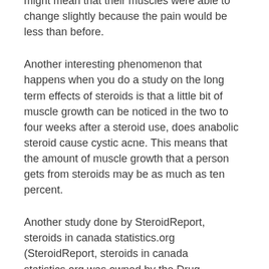want to increase their body mass, which might mean that their muscles were able to change slightly because the pain would be less than before.
Another interesting phenomenon that happens when you do a study on the long term effects of steroids is that a little bit of muscle growth can be noticed in the two to four weeks after a steroid use, does anabolic steroid cause cystic acne. This means that the amount of muscle growth that a person gets from steroids may be as much as ten percent.
Another study done by SteroidReport, steroids in canada statistics.org (SteroidReport, steroids in canada statistics.org was owned by the Drug Enforcement Administration and the website was shut down by the DEA in 2006, but it is still available) concluded that when you